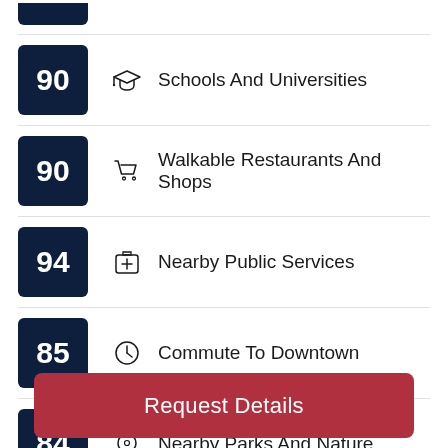90 Schools And Universities
90 Walkable Restaurants And Shops
94 Nearby Public Services
85 Commute To Downtown
84 Nearby Parks And Nature
Request Details